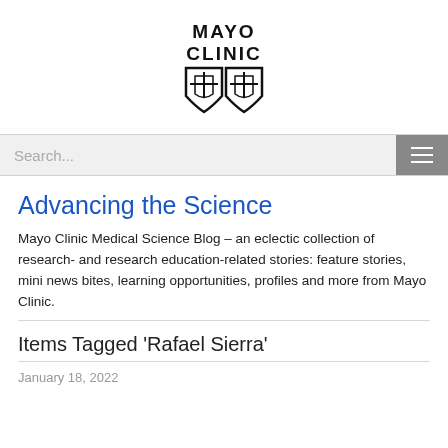[Figure (logo): Mayo Clinic logo with shield emblem and wordmark 'MAYO CLINIC']
Search...
Advancing the Science
Mayo Clinic Medical Science Blog – an eclectic collection of research- and research education-related stories: feature stories, mini news bites, learning opportunities, profiles and more from Mayo Clinic.
Items Tagged 'Rafael Sierra'
January 18, 2022